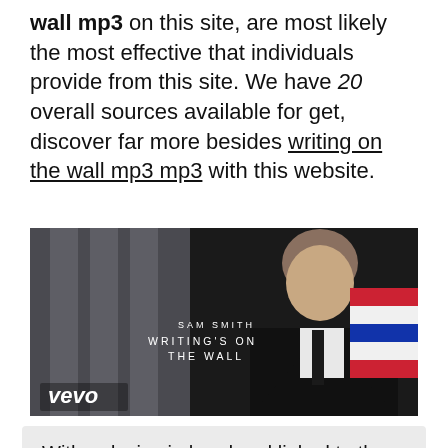wall mp3 on this site, are most likely the most effective that individuals provide from this site. We have 20 overall sources available for get, discover far more besides writing on the wall mp3 mp3 with this website.
[Figure (screenshot): Video thumbnail showing Sam Smith in a suit with text 'SAM SMITH WRITING'S ON THE WALL' and Vevo logo in the lower left corner.]
With a device in hand and linked to the web, you can listen to the writing on the